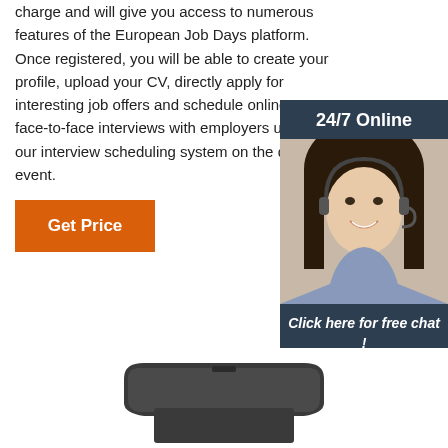charge and will give you access to numerous features of the European Job Days platform. Once registered, you will be able to create your profile, upload your CV, directly apply for interesting job offers and schedule online or face-to-face interviews with employers using our interview scheduling system on the day of event.
[Figure (other): Chat widget with '24/7 Online' header, photo of a smiling woman wearing a headset, text 'Click here for free chat!' and an orange QUOTATION button, all on a dark navy background.]
Get Price
[Figure (photo): Partial photo of a dark grey electronic device (appears to be a remote control or hardware device) visible at the bottom of the page.]